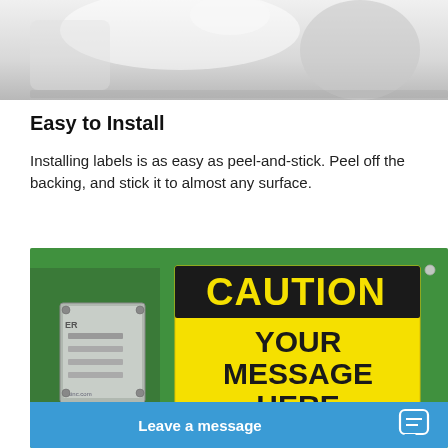[Figure (photo): Partial top image of a blurred/light background scene, appearing to be a product or equipment photo cropped at the top]
Easy to Install
Installing labels is as easy as peel-and-stick. Peel off the backing, and stick it to almost any surface.
[Figure (photo): Photo of a green industrial machine/cabinet with a yellow and black CAUTION label that reads 'CAUTION YOUR MESSAGE HERE', and an orange hazard symbol partially visible at the bottom. A blue chat widget bar at the bottom reads 'Leave a message'.]